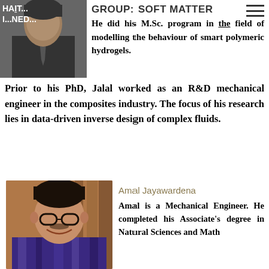[Figure (photo): Partial photo of a man in a suit, partially obscured by header text overlay]
HAITT... GROUP: SOFT MATTER I...NED...
He did his M.Sc. program in the field of modelling the behaviour of smart polymeric hydrogels. Prior to his PhD, Jalal worked as an R&D mechanical engineer in the composites industry. The focus of his research lies in data-driven inverse design of complex fluids.
[Figure (photo): Portrait photo of Amal Jayawardena, a young man wearing glasses and a patterned shirt, smiling]
Amal Jayawardena
Amal is a Mechanical Engineer. He completed his Associate's degree in Natural Sciences and Math